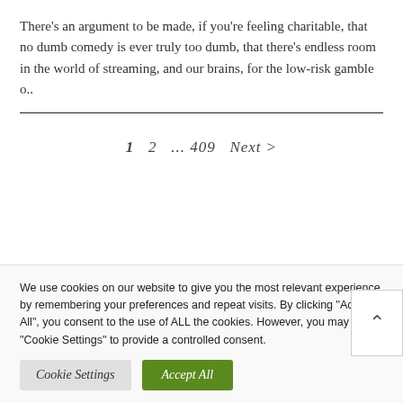There's an argument to be made, if you're feeling charitable, that no dumb comedy is ever truly too dumb, that there's endless room in the world of streaming, and our brains, for the low-risk gamble o..
1  2  ... 409  Next >
We use cookies on our website to give you the most relevant experience by remembering your preferences and repeat visits. By clicking "Accept All", you consent to the use of ALL the cookies. However, you may visit "Cookie Settings" to provide a controlled consent.